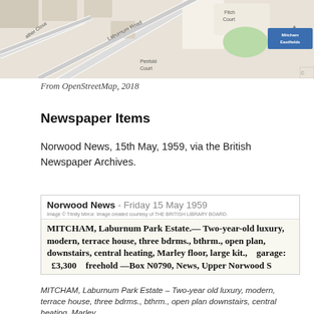[Figure (map): OpenStreetMap excerpt showing Mitcham Eastfields area with roads including Laburnum Road, Fitch Court, Penfold Court, and Heather Close.]
From OpenStreetMap, 2018
Newspaper Items
Norwood News, 15th May, 1959, via the British Newspaper Archives.
[Figure (screenshot): Newspaper clipping from Norwood News, Friday 15 May 1959, showing a property advertisement: MITCHAM, Laburnum Park Estate — Two-year-old luxury, modern, terrace house, three bdrms., bthrm., open plan, downstairs, central heating, Marley floor, large kit., garage; £3,300 freehold — Box N0790, News, Upper Norwood S]
MITCHAM, Laburnum Park Estate – Two-year old luxury, modern, terrace house, three bdrms., bthrm., open plan downstairs, central heating, Marley